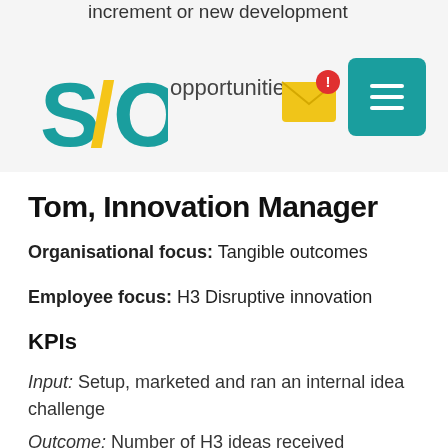increment or new development
[Figure (logo): S/O logo in teal and gold colours]
opportunities
[Figure (infographic): Yellow mail envelope icon with red notification badge showing exclamation mark]
[Figure (infographic): Teal hamburger menu button with three white horizontal lines]
Tom, Innovation Manager
Organisational focus: Tangible outcomes
Employee focus: H3 Disruptive innovation
KPIs
Input: Setup, marketed and ran an internal idea challenge
Outcome: Number of H3 ideas received